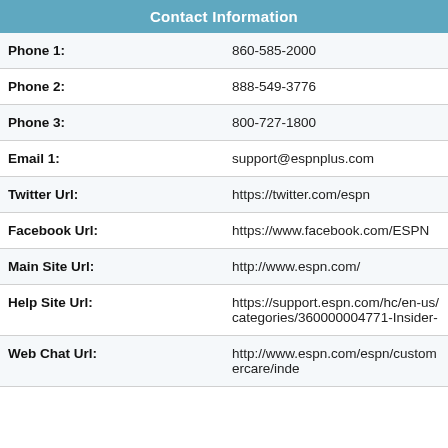| Contact Information |
| --- |
| Phone 1: | 860-585-2000 |
| Phone 2: | 888-549-3776 |
| Phone 3: | 800-727-1800 |
| Email 1: | support@espnplus.com |
| Twitter Url: | https://twitter.com/espn |
| Facebook Url: | https://www.facebook.com/ESPN |
| Main Site Url: | http://www.espn.com/ |
| Help Site Url: | https://support.espn.com/hc/en-us/categories/360000004771-Insider- |
| Web Chat Url: | http://www.espn.com/espn/customercare/inde |